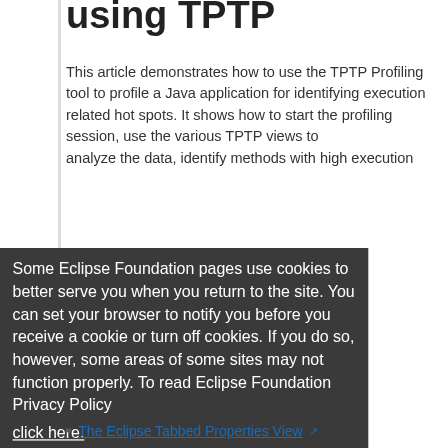using TPTP
This article demonstrates how to use the TPTP Profiling tool to profile a Java application for identifying execution related hot spots. It shows how to start the profiling session, use the various TPTP views to analyze the data, identify methods with high execution
Some Eclipse Foundation pages use cookies to better serve you when you return to the site. You can set your browser to notify you before you receive a cookie or turn off cookies. If you do so, however, some areas of some sites may not function properly. To read Eclipse Foundation Privacy Policy click here.
The Eclipse Tabbed Properties View